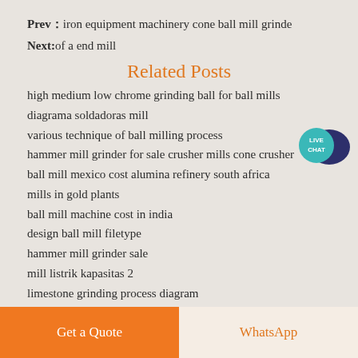Prev：iron equipment machinery cone ball mill grinde
Next: of a end mill
Related Posts
high medium low chrome grinding ball for ball mills
diagrama soldadoras mill
various technique of ball milling process
hammer mill grinder for sale crusher mills cone crusher
ball mill mexico cost alumina refinery south africa
mills in gold plants
ball mill machine cost in india
design ball mill filetype
hammer mill grinder sale
mill listrik kapasitas 2
limestone grinding process diagram